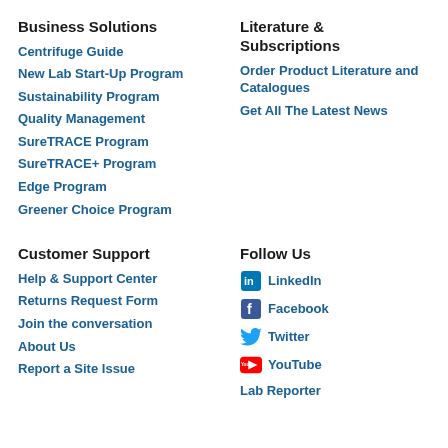Business Solutions
Centrifuge Guide
New Lab Start-Up Program
Sustainability Program
Quality Management
SureTRACE Program
SureTRACE+ Program
Edge Program
Greener Choice Program
Literature & Subscriptions
Order Product Literature and Catalogues
Get All The Latest News
Customer Support
Help & Support Center
Returns Request Form
Join the conversation
About Us
Report a Site Issue
Follow Us
LinkedIn
Facebook
Twitter
YouTube
Lab Reporter